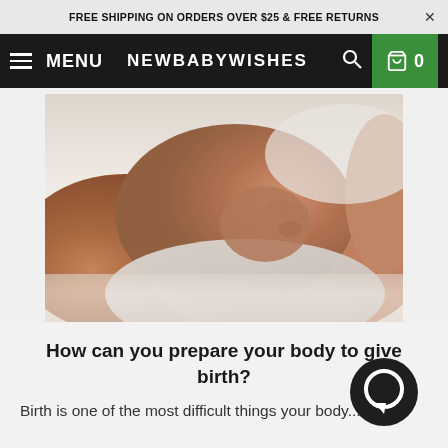FREE SHIPPING ON ORDERS OVER $25 & FREE RETURNS
MENU  NEWBABYWISHES  0
[Figure (photo): Close-up photo of a pregnant woman's belly, she is holding her stomach, lying on white bedding.]
How can you prepare your body to give birth?
Birth is one of the most difficult things your body...